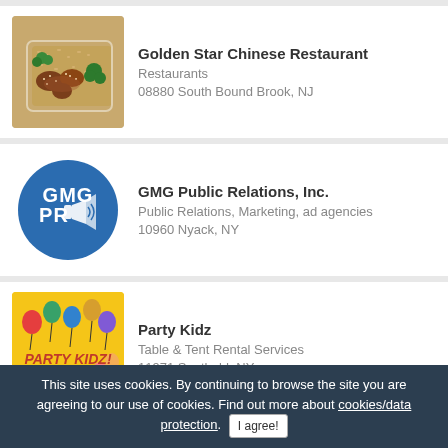[Figure (photo): Photo of Chinese food dish - sesame chicken with broccoli and fried rice in a white takeout container]
Golden Star Chinese Restaurant
Restaurants
08880 South Bound Brook, NJ
[Figure (logo): GMG PR logo - blue circle with white text GMG PR and megaphone icon]
GMG Public Relations, Inc.
Public Relations, Marketing, ad agencies
10960 Nyack, NY
[Figure (photo): Party Kidz logo - yellow background with colorful balloons and Party Kidz text]
Party Kidz
Table & Tent Rental Services
11971 Southold, NY
This site uses cookies. By continuing to browse the site you are agreeing to our use of cookies. Find out more about cookies/data protection. I agree!